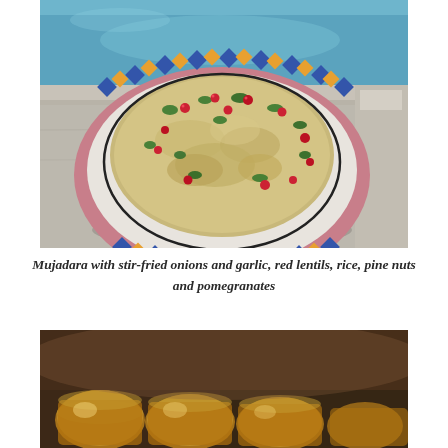[Figure (photo): A decorative ceramic plate with a diamond-patterned border in blue, yellow and white, containing mujadara dish topped with fried onions, red lentils, rice, pine nuts and pomegranate seeds with fresh herbs, placed near a blue swimming pool on a grey stone surface.]
Mujadara with stir-fried onions and garlic, red lentils, rice, pine nuts and pomegranates
[Figure (photo): Blurred background photo showing glass jars or cups containing what appears to be orange/yellow liquid or food items, set on a surface with a brick wall visible behind.]